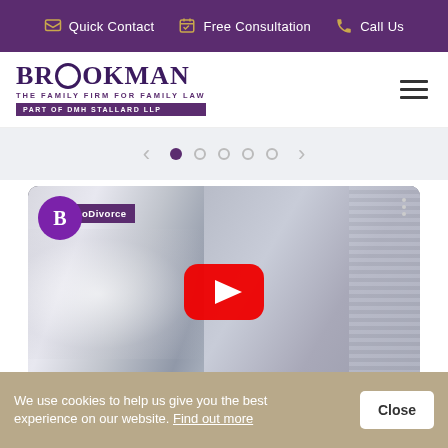Quick Contact   Free Consultation   Call Us
[Figure (logo): Brookman The Family Firm for Family Law - Part of DMH Stallard LLP logo]
[Figure (screenshot): Website screenshot showing a video thumbnail of a man in a suit with YouTube play button, Brookman Divorce branding overlay, and slider navigation dots]
We use cookies to help us give you the best experience on our website. Find out more